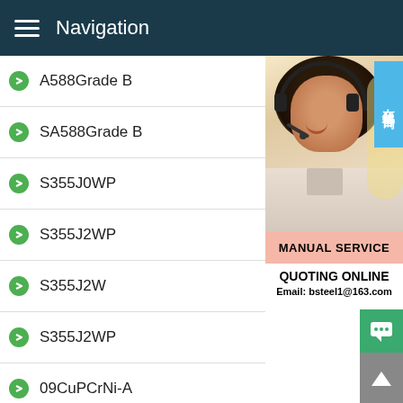Navigation
A588Grade B
SA588Grade B
S355J0WP
S355J2WP
S355J2W
S355J2WP
09CuPCrNi-A
05CuPCrNi
Q355GNH
Q355NH
A204 Grade B
[Figure (photo): Customer service representative wearing a headset, smiling, with a Chinese live chat badge overlay reading 在线咨询 (Online Consultation). Below the photo: MANUAL SERVICE banner, QUOTING ONLINE text, and Email: bsteel1@163.com]